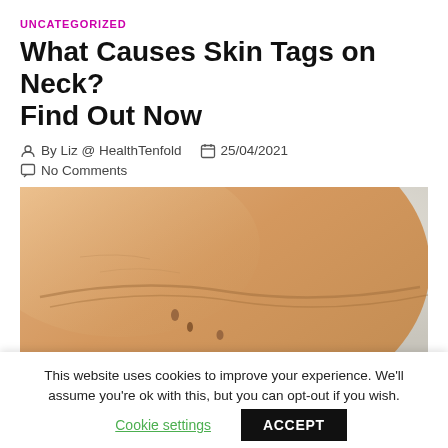UNCATEGORIZED
What Causes Skin Tags on Neck? Find Out Now
By Liz @ HealthTenfold   25/04/2021
No Comments
[Figure (photo): Close-up photograph of human neck skin showing small skin tags]
This website uses cookies to improve your experience. We'll assume you're ok with this, but you can opt-out if you wish.
Cookie settings   ACCEPT